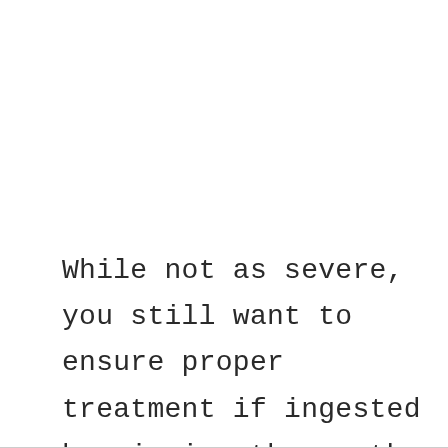While not as severe, you still want to ensure proper treatment if ingested by rinsing the mouth and eating a frozen or solid liquid-like ice cream or jelly.